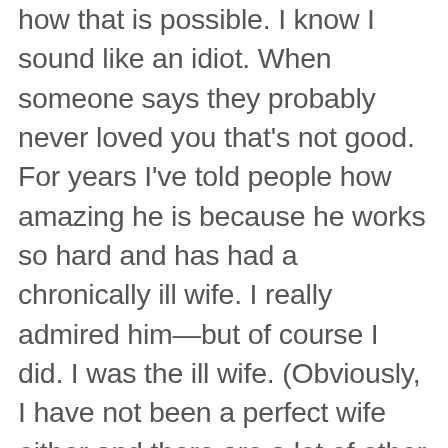how that is possible. I know I sound like an idiot. When someone says they probably never loved you that's not good. For years I've told people how amazing he is because he works so hard and has had a chronically ill wife. I really admired him—but of course I did. I was the ill wife. (Obviously, I have not been a perfect wife either and there are a lot of other factors being considered, but I couldn't imagine ever telling anyone I didn't think that I loved them without it really meaning that I was over them.) Our house just happens to be in my garden, and now I must decide what to do with it. If we decide to get divorced in 6 months, we will have to sell it, and if we make this marriage work, we will still have to sell it because that would mean moving to California—but in my heart I feel the odds are against that since so